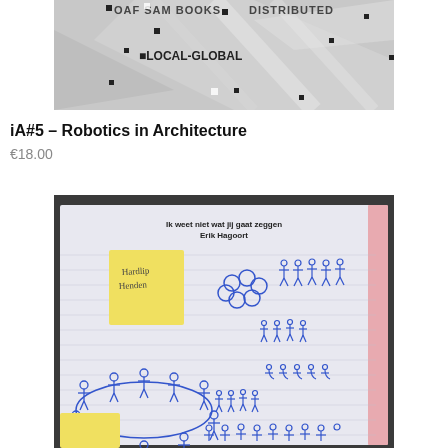[Figure (photo): Top partial image showing a map/diagram with text 'OAF SAM BOOKS', 'LOCAL-GLOBAL', and 'DISTRIBUTED' with small black square markers on a grey background.]
iA#5 – Robotics in Architecture
€18.00
[Figure (photo): Photo of an open notebook with lined pages showing hand-drawn sketches of groups of people (stick figures) in blue ballpoint pen and a yellow sticky note with handwriting. The notebook header reads 'Ik weet niet wat jij gaat zeggen' and 'Erik Hagoort'. The notebook has a pink edge visible on the right side.]